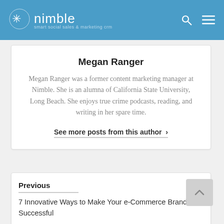nimble
Megan Ranger
Megan Ranger was a former content marketing manager at Nimble. She is an alumna of California State University, Long Beach. She enjoys true crime podcasts, reading, and writing in her spare time.
See more posts from this author >
Previous
7 Innovative Ways to Make Your e-Commerce Brand Successful